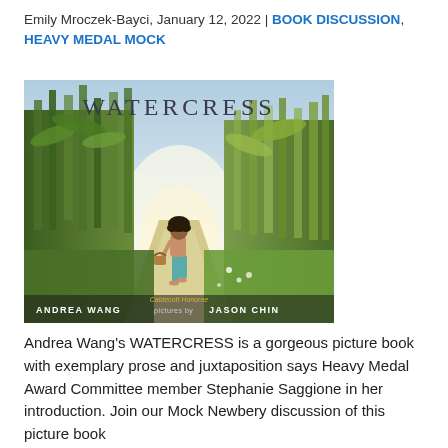Emily Mroczek-Bayci, January 12, 2022 | BOOK DISCUSSION, HEAVY MEDAL MOCK
[Figure (photo): Book cover of WATERCRESS by Andrea Wang, illustrated by Jason Chin (Caldecott Honoree). Shows a child walking through a lush green field carrying a basket, with tall corn/grass on both sides and a glowing path ahead.]
Andrea Wang's WATERCRESS is a gorgeous picture book with exemplary prose and juxtaposition says Heavy Medal Award Committee member Stephanie Saggione in her introduction. Join our Mock Newbery discussion of this picture book